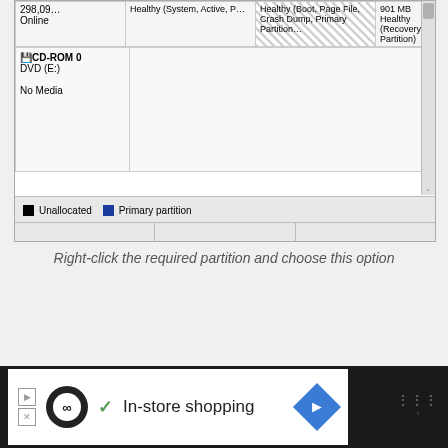[Figure (screenshot): Windows Disk Management screenshot showing disk partitions: a row with 298,09 and Online label, partitions including Healthy (System, Active), Healthy (Boot, Page File, Crash Dump, Primary Partition) in hatched style, and 901 MB Healthy (Recovery Partition). Below is CD-ROM 0 DVD (E:) with No Media. Legend shows Unallocated and Primary partition.]
Right-click the required partition and choose this option